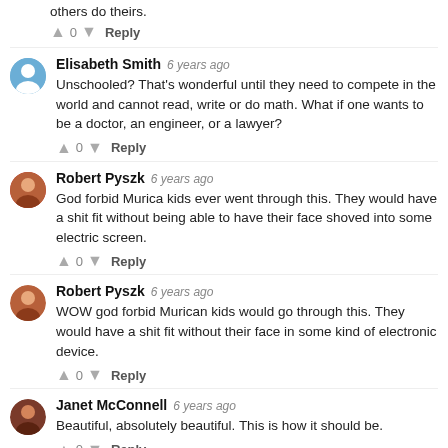others do theirs.
0  Reply
Elisabeth Smith  6 years ago
Unschooled? That's wonderful until they need to compete in the world and cannot read, write or do math. What if one wants to be a doctor, an engineer, or a lawyer?
0  Reply
Robert Pyszk  6 years ago
God forbid Murica kids ever went through this. They would have a shit fit without being able to have their face shoved into some electric screen.
0  Reply
Robert Pyszk  6 years ago
WOW god forbid Murican kids would go through this. They would have a shit fit without their face in some kind of electronic device.
0  Reply
Janet McConnell  6 years ago
Beautiful, absolutely beautiful. This is how it should be.
0  Reply